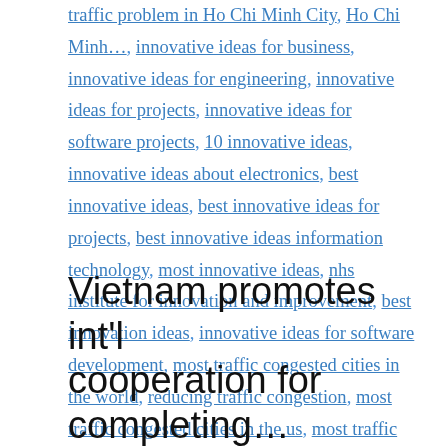traffic problem in Ho Chi Minh City, Ho Chi Minh..., innovative ideas for business, innovative ideas for engineering, innovative ideas for projects, innovative ideas for software projects, 10 innovative ideas, innovative ideas about electronics, best innovative ideas, best innovative ideas for projects, best innovative ideas information technology, most innovative ideas, nhs institute for innovation and improvement, best innovation ideas, innovative ideas for software development, most traffic congested cities in the world, reducing traffic congestion, most traffic congested cities in the us, most traffic congested city in the world, why does traffic congestion happen, what is traffic congestion, florida improv traffic school
Vietnam promotes int'l cooperation for completing...